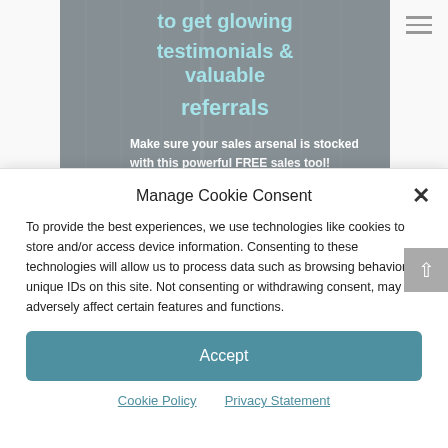[Figure (screenshot): Background website hero section with dark overlaid city building image, teal and white bold text reading 'to get glowing testimonials & valuable referrals' and subtext 'Make sure your sales arsenal is stocked with this powerful FREE sales tool!']
Manage Cookie Consent
To provide the best experiences, we use technologies like cookies to store and/or access device information. Consenting to these technologies will allow us to process data such as browsing behavior or unique IDs on this site. Not consenting or withdrawing consent, may adversely affect certain features and functions.
Accept
Cookie Policy   Privacy Statement